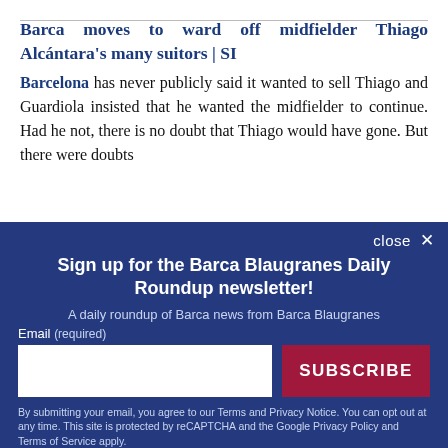Barca moves to ward off midfielder Thiago Alcántara's many suitors | SI
Barcelona has never publicly said it wanted to sell Thiago and Guardiola insisted that he wanted the midfielder to continue. Had he not, there is no doubt that Thiago would have gone. But there were doubts
Sign up for the Barca Blaugranes Daily Roundup newsletter!
A daily roundup of Barca news from Barca Blaugranes
Email (required)
SUBSCRIBE
By submitting your email, you agree to our Terms and Privacy Notice. You can opt out at any time. This site is protected by reCAPTCHA and the Google Privacy Policy and Terms of Service apply.